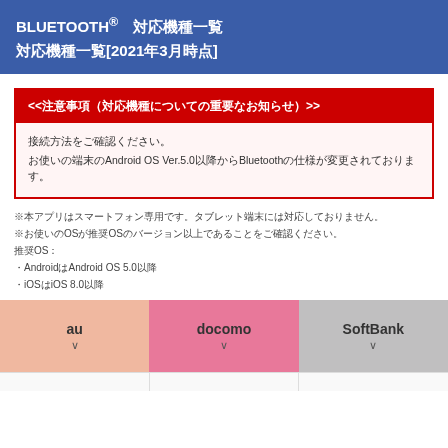BLUETOOTH® 対応機種一覧 対応機種一覧[2021年3月時点]
<<注意事項（対応機種についての重要なお知らせ）>>
接続方法をご確認ください。
お使いの端末のAndroid OS Ver.5.0以降からBluetoothの仕様が変更されております。
※本アプリはスマートフォン専用です。タブレット端末には対応しておりません。
※お使いのOSが推奨OSのバージョン以上であることをご確認ください。
推奨OS：
・AndroidはAndroid OS 5.0以降
・iOSはiOS 8.0以降
[Figure (infographic): Carrier selection buttons for au, docomo, and SoftBank with dropdown chevrons]